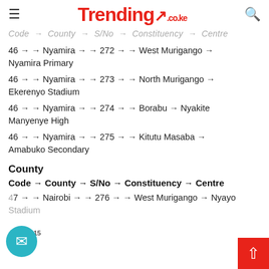Trending.co.ke
Code → County → S/No → Constituency → Centre
46 → → Nyamira → → 272 → → West Murigango → Nyamira Primary
46 → → Nyamira → → 273 → → North Murigango → Ekerenyo Stadium
46 → → Nyamira → → 274 → → Borabu → Nyakite Manyenye High
46 → → Nyamira → → 275 → → Kitutu Masaba → Amabuko Secondary
County
Code → County → S/No → Constituency → Centre
47 → → Nairobi → → 276 → → West Murigango → Nyayo Stadium